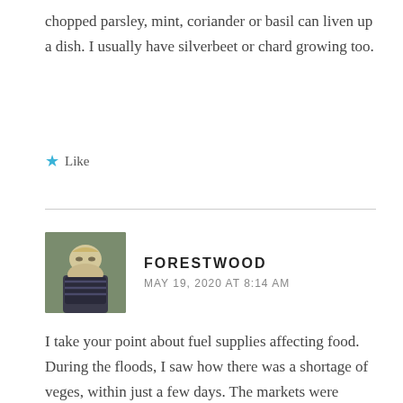chopped parsley, mint, coriander or basil can liven up a dish. I usually have silverbeet or chard growing too.
★ Like
[Figure (photo): Profile photo of a woman with short blonde hair wearing a striped shirt, sitting outdoors reading]
FORESTWOOD
MAY 19, 2020 AT 8:14 AM
I take your point about fuel supplies affecting food. During the floods, I saw how there was a shortage of veges, within just a few days. The markets were flooded so supply of them halted for several weeks. Our food security is quite tenuous, especially with a lot of overseas